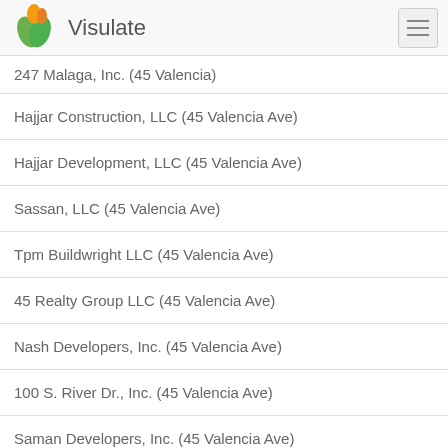Visulate
247 Malaga, Inc. (45 Valencia)
Hajjar Construction, LLC (45 Valencia Ave)
Hajjar Development, LLC (45 Valencia Ave)
Sassan, LLC (45 Valencia Ave)
Tpm Buildwright LLC (45 Valencia Ave)
45 Realty Group LLC (45 Valencia Ave)
Nash Developers, Inc. (45 Valencia Ave)
100 S. River Dr., Inc. (45 Valencia Ave)
Saman Developers, Inc. (45 Valencia Ave)
Arman Corp. (45 Valencia Ave)